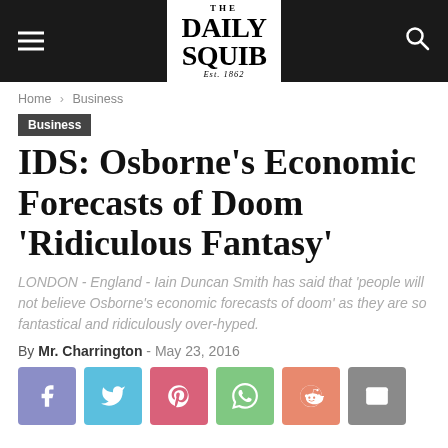THE DAILY SQUIB Est. 1862
Home › Business
Business
IDS: Osborne's Economic Forecasts of Doom 'Ridiculous Fantasy'
LONDON - England - Iain Duncan Smith has said that 'people will not believe Osborne's economic forecasts of doom' as they are so fantastical and ridiculously over-hyped.
By Mr. Charrington - May 23, 2016